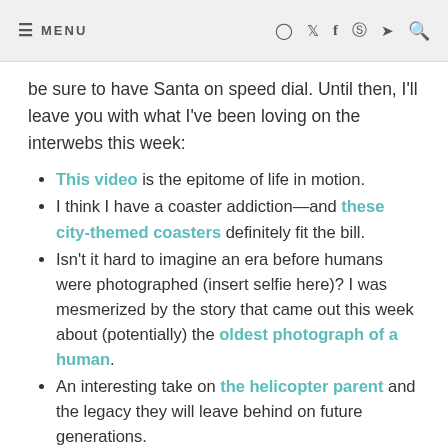≡ MENU
be sure to have Santa on speed dial. Until then, I'll leave you with what I've been loving on the interwebs this week:
This video is the epitome of life in motion.
I think I have a coaster addiction—and these city-themed coasters definitely fit the bill.
Isn't it hard to imagine an era before humans were photographed (insert selfie here)? I was mesmerized by the story that came out this week about (potentially) the oldest photograph of a human.
An interesting take on the helicopter parent and the legacy they will leave behind on future generations.
Pacey Witter and Rory Gilmore in the same room? Sign me up. Here's to hoping Logan Huntzberger will make an appearance